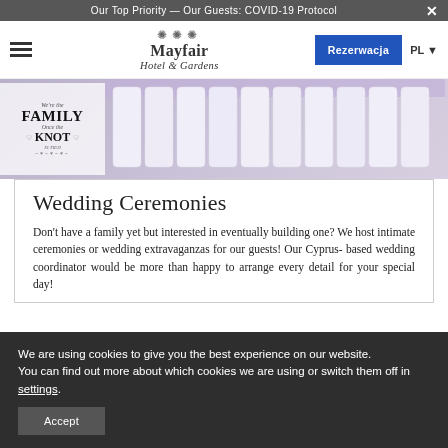Our Top Priority — Our Guests: COVID-19 Protocol
[Figure (screenshot): Mayfair Hotel & Gardens navigation bar with logo, hamburger menu, Rezerwacja button, and PL language selector]
[Figure (photo): Wedding setup photo showing white chair covers with purple ribbons and a sign reading 'FAMILY Once the KNOT IS TIED']
Wedding Ceremonies
Don't have a family yet but interested in eventually building one? We host intimate ceremonies or wedding extravaganzas for our guests! Our Cyprus- based wedding coordinator would be more than happy to arrange every detail for your special day!
We are using cookies to give you the best experience on our website.
You can find out more about which cookies we are using or switch them off in settings.
Accept